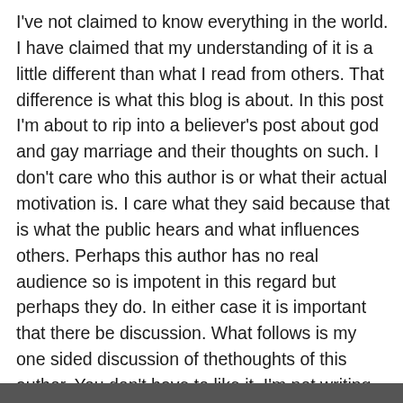I've not claimed to know everything in the world. I have claimed that my understanding of it is a little different than what I read from others. That difference is what this blog is about. In this post I'm about to rip into a believer's post about god and gay marriage and their thoughts on such. I don't care who this author is or what their actual motivation is. I care what they said because that is what the public hears and what influences others. Perhaps this author has no real audience so is impotent in this regard but perhaps they do. In either case it is important that there be discussion. What follows is my one sided discussion of thethoughts of this author. You don't have to like it. I'm not writing here for popularity. This post is not because I'm an angry atheist but because posts like this make this anti-theist angry.
[Figure (photo): Dark strip at the bottom of the page, partially visible image]